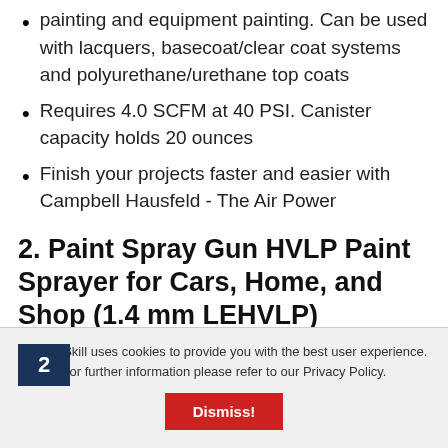painting and equipment painting. Can be used with lacquers, basecoat/clear coat systems and polyurethane/urethane top coats
Requires 4.0 SCFM at 40 PSI. Canister capacity holds 20 ounces
Finish your projects faster and easier with Campbell Hausfeld - The Air Power
2. Paint Spray Gun HVLP Paint Sprayer for Cars, Home, and Shop (1.4 mm LEHVLP)
[Figure (other): Numbered ranking bar showing number 2 in a dark navy box with a horizontal line extending to the right]
ReviewSkill uses cookies to provide you with the best user experience. For further information please refer to our Privacy Policy.